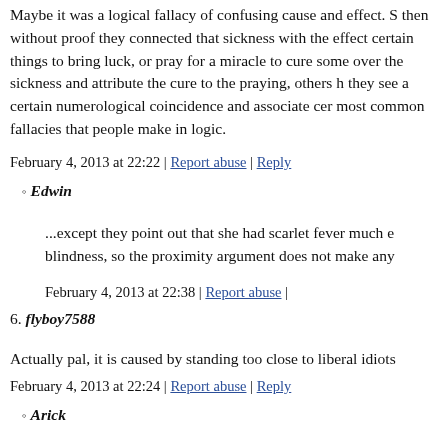Maybe it was a logical fallacy of confusing cause and effect. S then without proof they connected that sickness with the effect certain things to bring luck, or pray for a miracle to cure some over the sickness and attribute the cure to the praying, others h they see a certain numerological coincidence and associate cer most common fallacies that people make in logic.
February 4, 2013 at 22:22 | Report abuse | Reply
Edwin
...except they point out that she had scarlet fever much e blindness, so the proximity argument does not make any
February 4, 2013 at 22:38 | Report abuse |
6. flyboy7588
Actually pal, it is caused by standing too close to liberal idiots
February 4, 2013 at 22:24 | Report abuse | Reply
Arick
Conservatives don't believe in science, they believe a ma universe in seven days. That makes much more sense tha
February 5, 2013 at 01:32 | Report abuse |